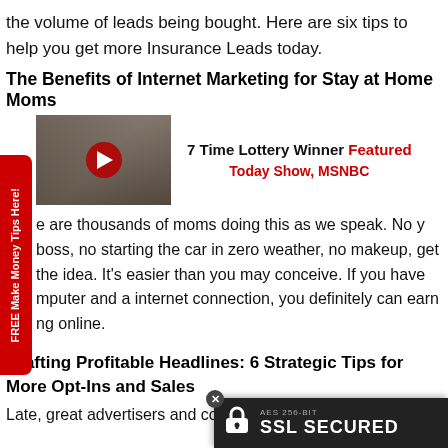the volume of leads being bought. Here are six tips to help you get more Insurance Leads today.
The Benefits of Internet Marketing for Stay at Home Moms
[Figure (screenshot): Video thumbnail with play button showing people, alongside text: 7 Time Lottery Winner Featured Today Show, MSNBC]
e are thousands of moms doing this as we speak. No y boss, no starting the car in zero weather, no makeup, get the idea. It's easier than you may conceive. If you have mputer and a internet connection, you definitely can earn ng online.
Crafting Profitable Headlines: 6 Strategic Tips for More Opt-Ins and Sales
Late, great advertisers and copywri...
[Figure (logo): SSL Secured badge: AES 256-BIT SSL SECURED with lock icon]